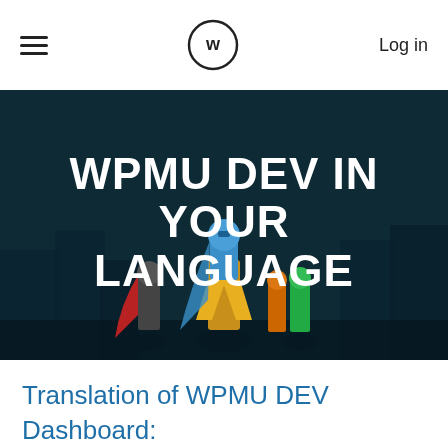≡  [WPMU DEV logo]  Log in
[Figure (illustration): Hero banner image with illustrated superheroes on a dark teal background with the text WPMU DEV IN YOUR LANGUAGE overlaid in large white bold uppercase letters.]
Translation of WPMU DEV Dashboard: Japanese